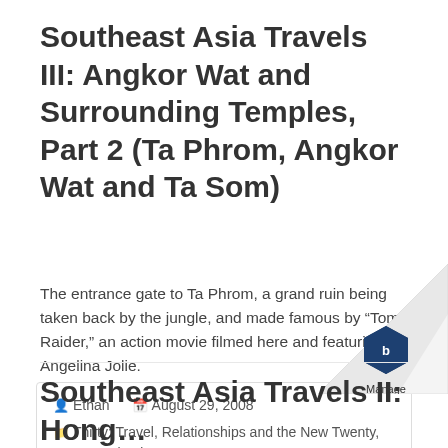Southeast Asia Travels III: Angkor Wat and Surrounding Temples, Part 2 (Ta Phrom, Angkor Wat and Ta Som)
The entrance gate to Ta Phrom, a grand ruin being taken back by the jungle, and made famous by “Tomb Raider,” an action movie filmed here and featuring Angelina Jolie.
Ethan   August 29, 2008
Thirty: Travel, Relationships and the New Twenty, Uncategorized
No Comments
Southeast Asia Travels II: Hong...